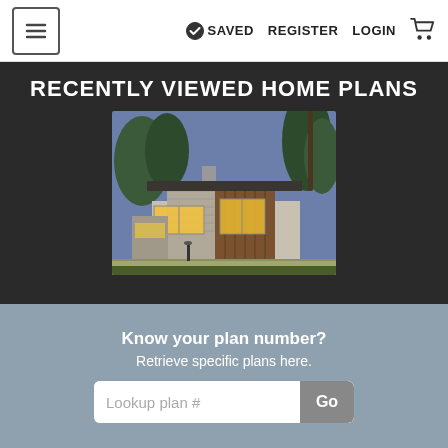≡  SAVED  REGISTER  LOGIN  🛒
RECENTLY VIEWED HOME PLANS
[Figure (photo): Modern house exterior at dusk with large windows, stone and wood facade, and illuminated interior, surrounded by trees and landscaping]
Know your plan number?
Retrieve specific plans here.
Lookup plan #  Go